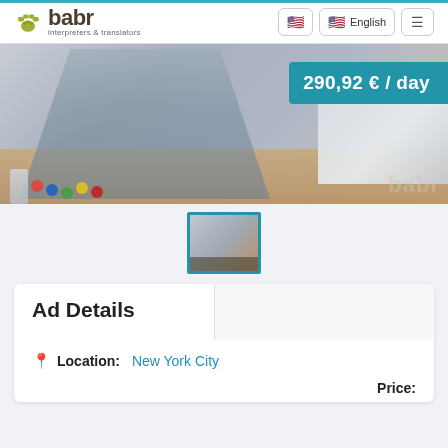babr interpreters & translators — English navigation
[Figure (photo): Artist or translator working at a desk with paint supplies and a laptop. Price badge shows 290,92 € / day in teal. babr watermark bottom right.]
[Figure (thumbnail): Thumbnail of the same scene, with teal border]
Ad Details
Location: New York City
Price: